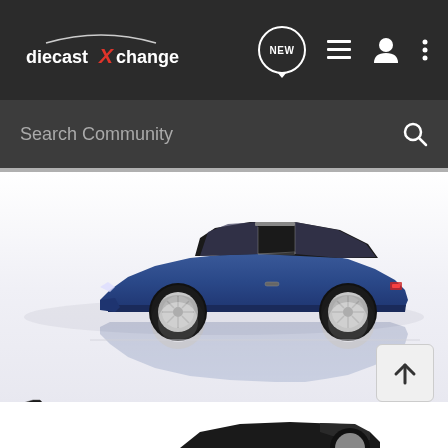[Figure (screenshot): diecastXchange website navigation bar with logo, NEW chat bubble icon, list icon, user icon, and more options icon on dark background]
Search Community
[Figure (photo): Side profile photo of a blue Lamborghini Urraco or similar 1970s Italian sports car diecast model with silver wheels and black roof panel, shown on white reflective surface with mirror reflection below]
[Figure (logo): Small Lamborghini brand shield logo with text below reading PARAGON DIECAST MODELS and additional small italic text]
[Figure (photo): Partial view of another dark colored diecast car model visible at the bottom of the page]